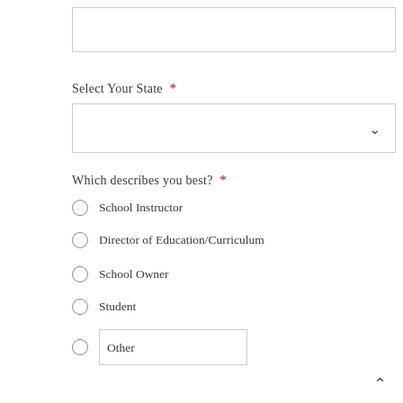Select Your State *
Which describes you best? *
School Instructor
Director of Education/Curriculum
School Owner
Student
Other